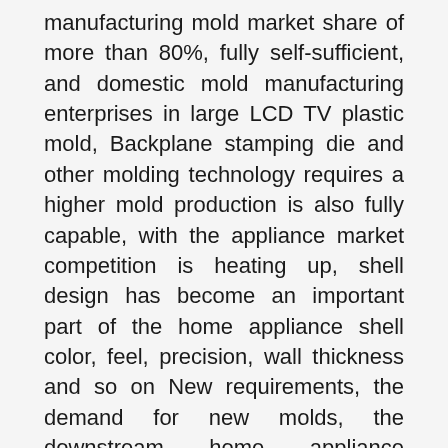manufacturing mold market share of more than 80%, fully self-sufficient, and domestic mold manufacturing enterprises in large LCD TV plastic mold, Backplane stamping die and other molding technology requires a higher mold production is also fully capable, with the appliance market competition is heating up, shell design has become an important part of the home appliance shell color, feel, precision, wall thickness and so on New requirements, the demand for new molds, the downstream home appliance industry, the rapid and rapid development will greatly promote the development of home appliance mold industry.
2015 China's total sales of LCD TV 12,224 million units, an increase of 1.6%. Domestic sales, China's LCD TV in 2015, total shipments of 5,120,30 million units, an increase of 2.6%. According to the enterprise, the six major brands for the Skyworth, Hisense, TCL, Konka,